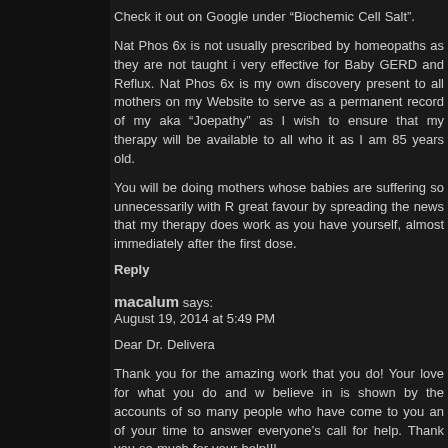Check it out on Google under “Biochemic Cell Salt”.
Nat Phos 6x is not usually prescribed by homeopaths as they are not taught it very effective for Baby GERD and Reflux. Nat Phos 6x is my own discovery present to all mothers on my Website to serve as a permanent record of my aka “Joepathy” as I wish to ensure that my therapy will be available to all who it as I am 85 years old.
You will be doing mothers whose babies are suffering so unnecessarily with R great favour by spreading the news that my therapy does work as you have yourself, almost immediately after the first dose.
Reply
macalum says:
August 19, 2014 at 5:49 PM
Dear Dr. Delivera
Thank you for the amazing work that you do! Your love for what you do and w believe in is shown by the accounts of so many people who have come to you an of your time to answer everyone’s call for help. Thank you so much for your help!!!
If you could so please offer additional advice on another health concern that is bu me. We have chosen to no vaccinate our 13 month old (actually delay vaccinations). He started daycare in July. He has been sick every week with fev 103 degrees f. He usually gets sick near the end of the week. Can you offer insig which vaccine we should offer first if this is something we ought to do given the h environment he is in?